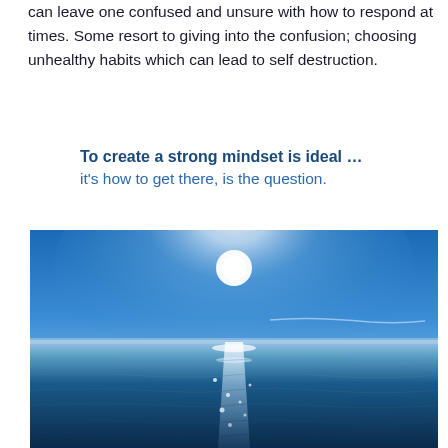can leave one confused and unsure with how to respond at times. Some resort to giving into the confusion; choosing unhealthy habits which can lead to self destruction.
To create a strong mindset is ideal … it's how to get there, is the question.
[Figure (photo): A bright sun shining over a calm ocean with light reflecting on gentle waves under a blue sky]